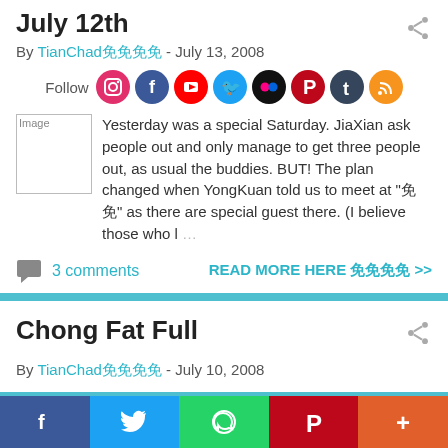July 12th
By TianChad免免免免 - July 13, 2008
[Figure (infographic): Social media follow icons row: Instagram, Facebook, YouTube, Twitter, Flickr, Pinterest, Tumblr, RSS]
[Figure (photo): Thumbnail image placeholder]
Yesterday was a special Saturday. JiaXian ask people out and only manage to get three people out, as usual the buddies. BUT! The plan changed when YongKuan told us to meet at "免免" as there are special guest there. (I believe those who l…
3 comments
READ MORE HERE 免免免免 >>
Chong Fat Full
By TianChad免免免免 - July 10, 2008